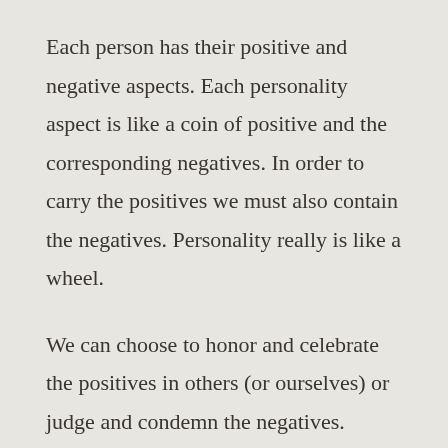Each person has their positive and negative aspects.  Each personality aspect is like a coin of positive and the corresponding negatives.  In order to carry the positives we must also contain the negatives.  Personality really is like a wheel.
We can choose to honor and celebrate the positives in others (or ourselves) or judge and condemn the negatives.
Consciously or unconsciously what we focus on is a choice.  Thus in each moment we